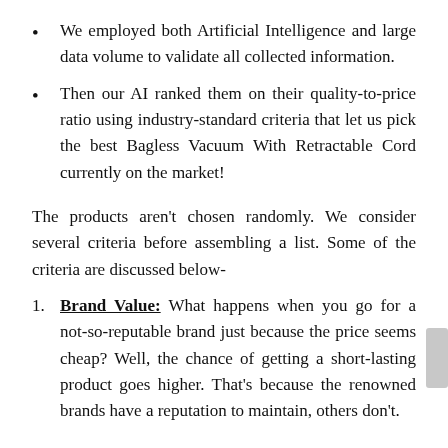We employed both Artificial Intelligence and large data volume to validate all collected information.
Then our AI ranked them on their quality-to-price ratio using industry-standard criteria that let us pick the best Bagless Vacuum With Retractable Cord currently on the market!
The products aren't chosen randomly. We consider several criteria before assembling a list. Some of the criteria are discussed below-
Brand Value: What happens when you go for a not-so-reputable brand just because the price seems cheap? Well, the chance of getting a short-lasting product goes higher. That's because the renowned brands have a reputation to maintain, others don't.